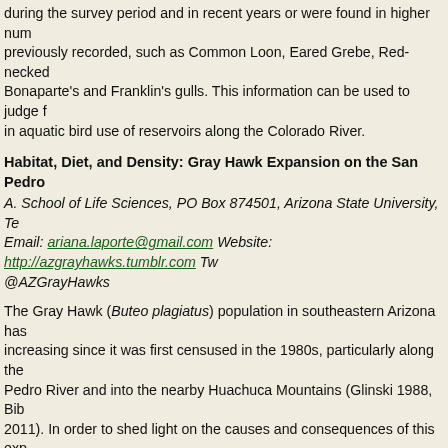during the survey period and in recent years or were found in higher numbers than previously recorded, such as Common Loon, Eared Grebe, Red-necked Bonaparte's and Franklin's gulls. This information can be used to judge future changes in aquatic bird use of reservoirs along the Colorado River.
Habitat, Diet, and Density: Gray Hawk Expansion on the San Pedro
A. School of Life Sciences, PO Box 874501, Arizona State University, Te Email: ariana.laporte@gmail.com Website: http://azgrayhawks.tumblr.com Tw @AZGrayHawks
The Gray Hawk (Buteo plagiatus) population in southeastern Arizona has been increasing since it was first censused in the 1980s, particularly along the San Pedro River and into the nearby Huachuca Mountains (Glinski 1988, Bib 2011). In order to shed light on the causes and consequences of this expansion, I examine Gray Hawk diet and foraging habitat in historic and newly established territories and estimate nest density and success. In this 2014 pilot season, I monitored Gray Hawk nests along a 30 km stretch of the upper San Pedro River and analyzed Gray Hawk diet in 3 territories that differed in habitat, historical occupancy, and stream permanence. Nest density in this area increased by 30% since the last census, with some nests as close as 400 m apart. I visually confirmed nest success (fledglings reached at least 75% of fledging age) for 71.43 % of nests (60% visual, 1 I confirmed a failure rate of 8.7%, and could not determine the success of the rest. Diet and habitat analysis revealed that surrounding vegetation could influence prey selection. More samples are needed to detect patterns in foraging behavior, but preliminary data show that Gray Hawks may adapt to available resources rather than specializing on a particular food source.
Seasonality, Habitat, and Diet of Gray Vireos at Kofa NWR in Southwest Arizona.